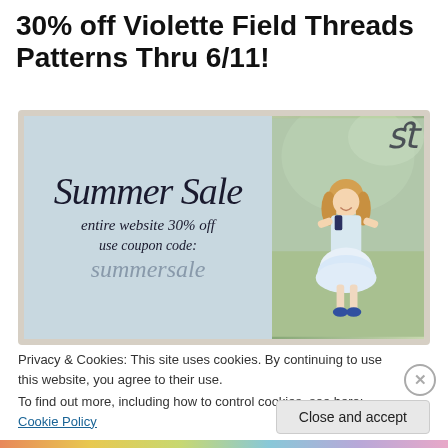30% off Violette Field Threads Patterns Thru 6/11!
[Figure (photo): Summer Sale advertisement image for Violette Field Threads showing 'Summer Sale - entire website 30% off - use coupon code: summersale' on a light blue background, with a photo of a young girl in a light blue dress on the right side.]
Privacy & Cookies: This site uses cookies. By continuing to use this website, you agree to their use.
To find out more, including how to control cookies, see here: Cookie Policy
Close and accept